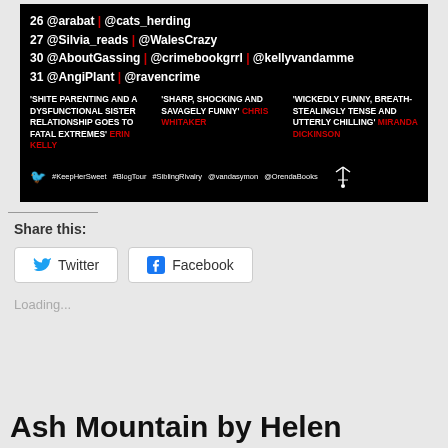[Figure (infographic): Black background promotional image for a book blog tour. Shows dates 26-31 with Twitter handles, three quote blurbs with author names in red, and hashtags/Twitter handles at the bottom including #KeepHerSweet #BlogTour #SiblingRivalry @vandasymon @OrendaBooks with Orenda Books logo.]
Share this:
Twitter
Facebook
Loading...
Ash Mountain by Helen